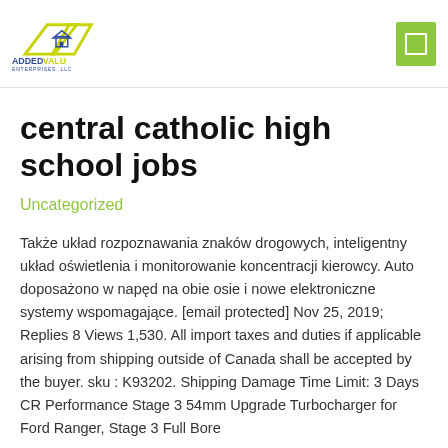[Figure (logo): Added Valu Enterprises LLC logo with geometric house/arrow graphic in yellow and blue, company name in blue and yellow text]
central catholic high school jobs
Uncategorized
Także układ rozpoznawania znaków drogowych, inteligentny układ oświetlenia i monitorowanie koncentracji kierowcy. Auto doposażono w napęd na obie osie i nowe elektroniczne systemy wspomagające. [email protected] Nov 25, 2019; Replies 8 Views 1,530. All import taxes and duties if applicable arising from shipping outside of Canada shall be accepted by the buyer. sku : K93202. Shipping Damage Time Limit: 3 Days CR Performance Stage 3 54mm Upgrade Turbocharger for Ford Ranger, Stage 3 Full Bore